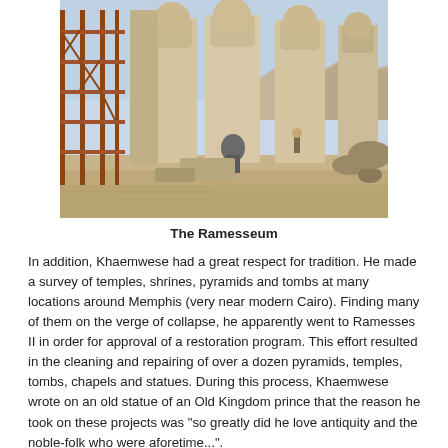[Figure (photo): Photograph of The Ramesseum showing large ancient Egyptian stone statues of Ramesses II with construction scaffolding on the left side, desert landscape and hills in the background.]
The Ramesseum
In addition, Khaemwese had a great respect for tradition. He made a survey of temples, shrines, pyramids and tombs at many locations around Memphis (very near modern Cairo). Finding many of them on the verge of collapse, he apparently went to Ramesses II in order for approval of a restoration program. This effort resulted in the cleaning and repairing of over a dozen pyramids, temples, tombs, chapels and statues. During this process, Khaemwese wrote on an old statue of an Old Kingdom prince that the reason he took on these projects was "so greatly did he love antiquity and the noble-folk who were aforetime...".